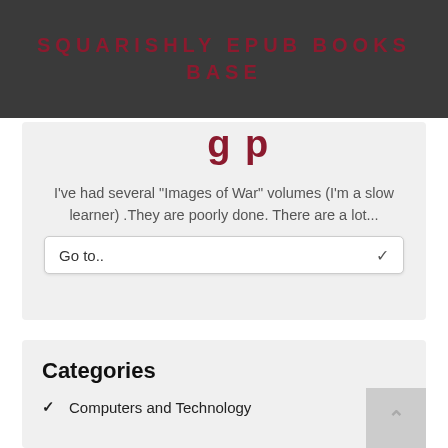SQUARISHLY EPUB BOOKS BASE
Go to..
I've had several "Images of War" volumes (I'm a slow learner) .They are poorly done. There are a lot...
Categories
Computers and Technology